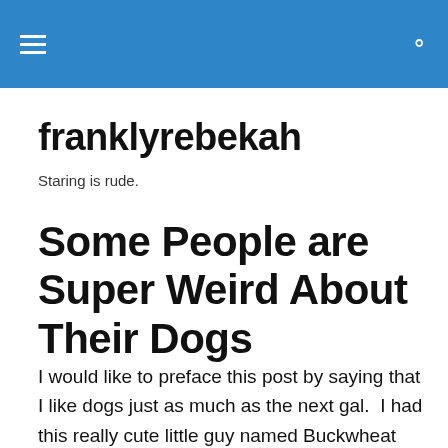franklyrebekah — navigation header with hamburger menu and search icon
franklyrebekah
Staring is rude.
Some People are Super Weird About Their Dogs
I would like to preface this post by saying that I like dogs just as much as the next gal.  I had this really cute little guy named Buckwheat when I was growing up and I loved him.  Well, I loved him until he got a tumor in his head that was pressing on the personality part of his brain and he subsequently went from loveable and stupid to menacing